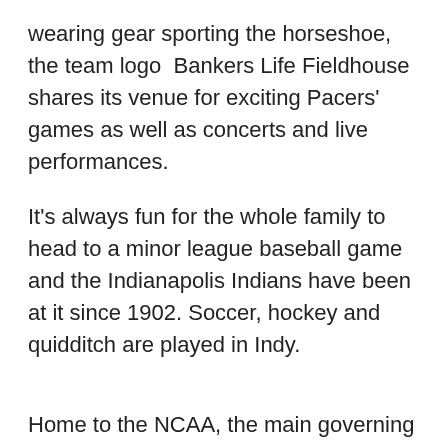wearing gear sporting the horseshoe, the team logo  Bankers Life Fieldhouse shares its venue for exciting Pacers' games as well as concerts and live performances.
It's always fun for the whole family to head to a minor league baseball game and the Indianapolis Indians have been at it since 1902. Soccer, hockey and quidditch are played in Indy.
Home to the NCAA, the main governing body for collegiate sports, there is an abundance of collegiate sports to enjoy as well. From several sporting events for Indiana University as well as NCAA tournaments, seeing sporting events is an easy endeavor here.